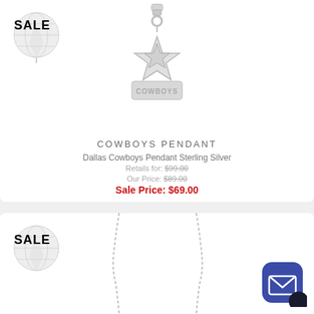[Figure (photo): Dallas Cowboys sterling silver pendant with star logo and COWBOYS text, shown on white background]
COWBOYS PENDANT
Dallas Cowboys Pendant Sterling Silver
Retails for: $99.00
Our Price: $89.00
Sale Price: $69.00
[Figure (photo): Silver necklace chain shown hanging on white background with SALE badge overlay]
[Figure (other): Email/chat button widget in dark blue/purple rounded square]